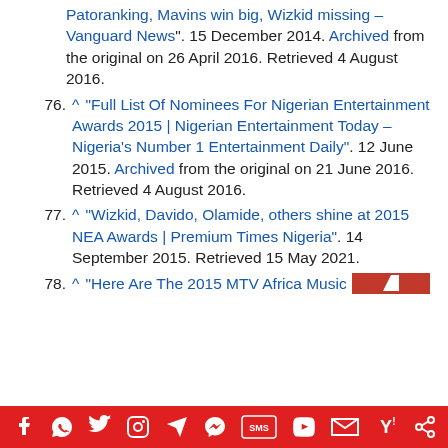Patoranking, Mavins win big, Wizkid missing – Vanguard News". 15 December 2014. Archived from the original on 26 April 2016. Retrieved 4 August 2016.
76. ^ "Full List Of Nominees For Nigerian Entertainment Awards 2015 | Nigerian Entertainment Today – Nigeria's Number 1 Entertainment Daily". 12 June 2015. Archived from the original on 21 June 2016. Retrieved 4 August 2016.
77. ^ "Wizkid, Davido, Olamide, others shine at 2015 NEA Awards | Premium Times Nigeria". 14 September 2015. Retrieved 15 May 2021.
78. ^ "Here Are The 2015 MTV Africa Musi…